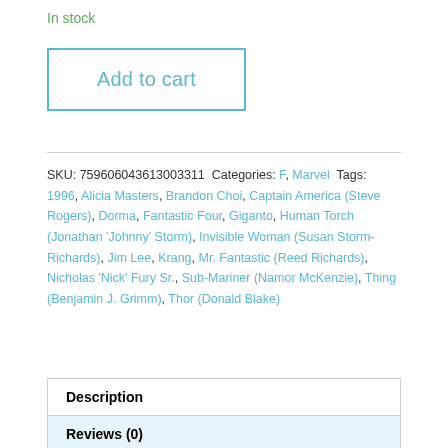In stock
Add to cart
SKU: 759606043613003311 Categories: F, Marvel Tags: 1996, Alicia Masters, Brandon Choi, Captain America (Steve Rogers), Dorma, Fantastic Four, Giganto, Human Torch (Jonathan 'Johnny' Storm), Invisible Woman (Susan Storm-Richards), Jim Lee, Krang, Mr. Fantastic (Reed Richards), Nicholas 'Nick' Fury Sr., Sub-Mariner (Namor McKenzie), Thing (Benjamin J. Grimm), Thor (Donald Blake)
Description
Reviews (0)